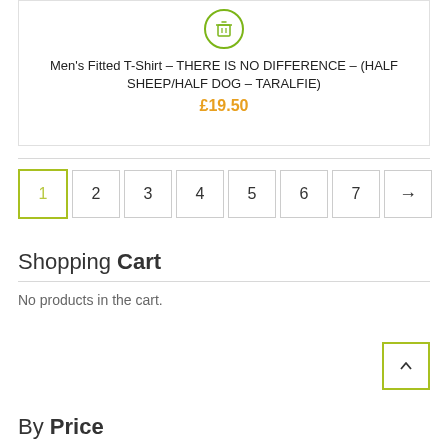[Figure (illustration): Green trash/delete icon inside a green circle outline at top of product card]
Men's Fitted T-Shirt – THERE IS NO DIFFERENCE – (HALF SHEEP/HALF DOG – TARALFIE)
£19.50
1
2
3
4
5
6
7
→
Shopping Cart
No products in the cart.
By Price